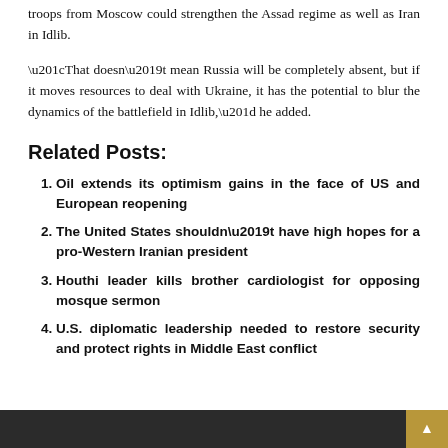troops from Moscow could strengthen the Assad regime as well as Iran in Idlib.
“That doesn’t mean Russia will be completely absent, but if it moves resources to deal with Ukraine, it has the potential to blur the dynamics of the battlefield in Idlib,” he added.
Related Posts:
Oil extends its optimism gains in the face of US and European reopening
The United States shouldn’t have high hopes for a pro-Western Iranian president
Houthi leader kills brother cardiologist for opposing mosque sermon
U.S. diplomatic leadership needed to restore security and protect rights in Middle East conflict